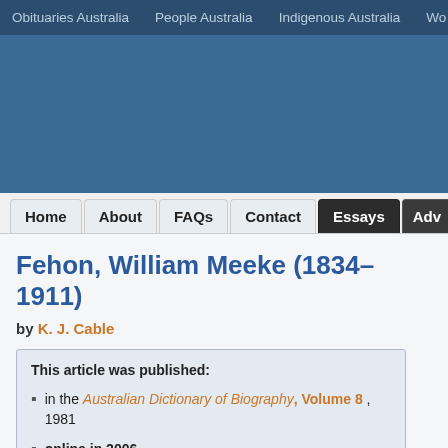Obituaries Australia  People Australia  Indigenous Australia  Wo...
[Figure (screenshot): Blue banner area of website header]
Home  About  FAQs  Contact  Essays  Adv...
Fehon, William Meeke (1834–1911)
by K. J. Cable
This article was published:
in the Australian Dictionary of Biography, Volume 8 , 1981
online in 2006